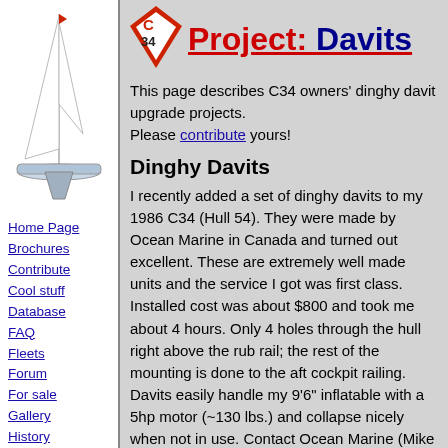[Figure (logo): Illustration of a white sailboat (Catalina 34) on white background, side view]
[Figure (logo): C34 diamond-shaped logo in red with white C and 34 text, used as project icon]
Project: Davits
This page describes C34 owners' dinghy davit upgrade projects.
Please contribute yours!
Dinghy Davits
I recently added a set of dinghy davits to my 1986 C34 (Hull 54). They were made by Ocean Marine in Canada and turned out excellent. These are extremely well made units and the service I got was first class. Installed cost was about $800 and took me about 4 hours. Only 4 holes through the hull right above the rub rail; the rest of the mounting is done to the aft cockpit railing.  Davits easily handle my 9'6" inflatable with a 5hp motor (~130 lbs.) and collapse nicely when not in use. Contact Ocean Marine (Mike Thomas - proprietor is super to work with) at
Home Page
Brochures
Contribute
Cool stuff
Database
FAQ
Fleets
Forum
For sale
Gallery
History
Join
Links
Mailing List
Manuals
Names